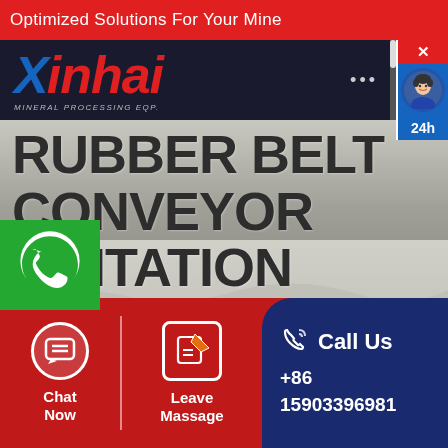Optimized Solutions For Your Mine
[Figure (logo): Xinhai mineral processing technology logo on dark navy background]
RUBBER BELT CONVEYOR AGITATION TANK
[Figure (photo): Aerial/open-pit mining landscape background photo]
Chat Now
Leave Massage
Call Us +86 15903396981